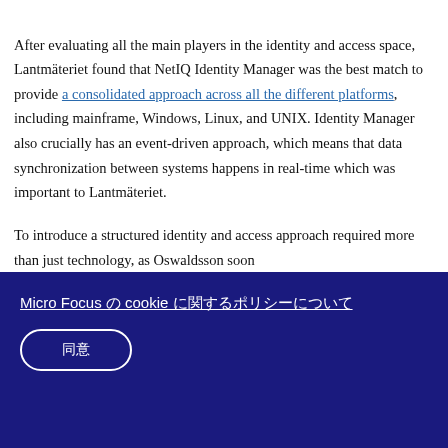After evaluating all the main players in the identity and access space, Lantmäteriet found that NetIQ Identity Manager was the best match to provide a consolidated approach across all the different platforms, including mainframe, Windows, Linux, and UNIX. Identity Manager also crucially has an event-driven approach, which means that data synchronization between systems happens in real-time which was important to Lantmäteriet.
To introduce a structured identity and access approach required more than just technology, as Oswaldsson soon
Micro Focus の cookie に関するポリシーについて
同意